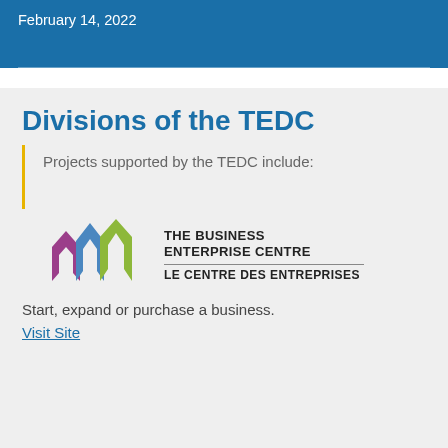February 14, 2022
Divisions of the TEDC
Projects supported by the TEDC include:
[Figure (logo): The Business Enterprise Centre / Le Centre des Entreprises logo with three arrow-like icons in purple, blue, and green]
Start, expand or purchase a business.
Visit Site